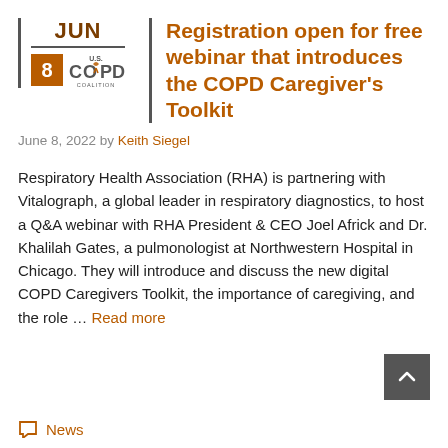[Figure (logo): JUN date block with number 8 in orange box, U.S. COPD Coalition logo]
Registration open for free webinar that introduces the COPD Caregiver's Toolkit
June 8, 2022 by Keith Siegel
Respiratory Health Association (RHA) is partnering with Vitalograph, a global leader in respiratory diagnostics, to host a Q&A webinar with RHA President & CEO Joel Africk and Dr. Khalilah Gates, a pulmonologist at Northwestern Hospital in Chicago. They will introduce and discuss the new digital COPD Caregivers Toolkit, the importance of caregiving, and the role … Read more
News